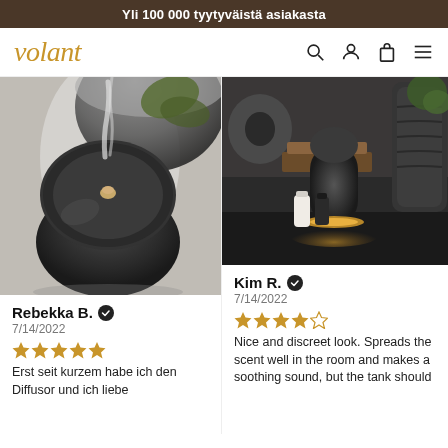Yli 100 000 tyytyväistä asiakasta
[Figure (logo): volant logo in italic gold text]
[Figure (photo): Close-up photo of a dark grey ceramic aroma diffuser emitting mist, with a plant in background]
Rebekka B. ✓
7/14/2022
★★★★★
Erst seit kurzem habe ich den Diffusor und ich liebe
[Figure (photo): Dark grey aroma diffuser with amber LED glow on dark table, with decorative ceramic objects and small bottles]
Kim R. ✓
7/14/2022
★★★★☆
Nice and discreet look. Spreads the scent well in the room and makes a soothing sound, but the tank should be bigger as it runs out